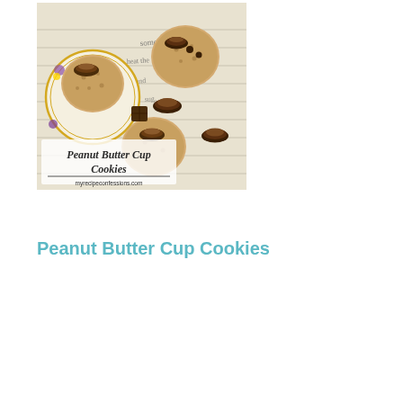[Figure (photo): Photo of Peanut Butter Cup Cookies on a decorative plate with handwritten recipe notes in background. Cookies topped with Reese's peanut butter cups. Text overlay reads 'Peanut Butter Cup Cookies' and 'myrecipeconfessions.com'.]
Peanut Butter Cup Cookies